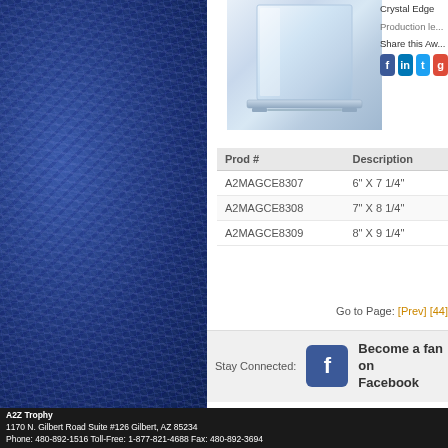[Figure (photo): Blue textured decorative panel on left side]
[Figure (photo): Crystal edge glass award plaque on clear base]
Crystal Edge
Production le...
Share this Aw...
| Prod # | Description |
| --- | --- |
| A2MAGCE8307 | 6" X 7 1/4" |
| A2MAGCE8308 | 7" X 8 1/4" |
| A2MAGCE8309 | 8" X 9 1/4" |
Go to Page: [Prev] [44]
Stay Connected:
Become a fan on Facebook
A2Z Trophy
1170 N. Gilbert Road Suite #126 Gilbert, AZ 85234
Phone: 480-892-1516 Toll-Free: 1-877-821-4688 Fax: 480-892-3694